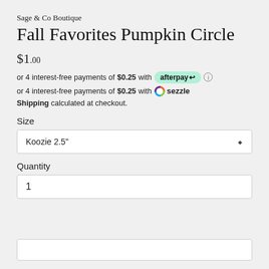Sage & Co Boutique
Fall Favorites Pumpkin Circle
$1.00
or 4 interest-free payments of $0.25 with afterpay
or 4 interest-free payments of $0.25 with sezzle
Shipping calculated at checkout.
Size
Koozie 2.5"
Quantity
1